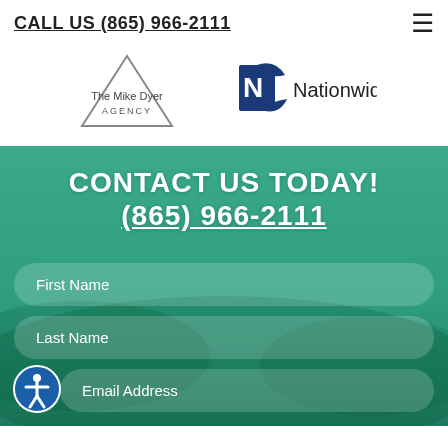CALL US (865) 966-2111
[Figure (logo): The Mike Dyer Agency logo (triangle outline) alongside Nationwide Insurance logo (eagle with N) and wordmark]
CONTACT US TODAY!
(865) 966-2111
First Name
Last Name
Email Address